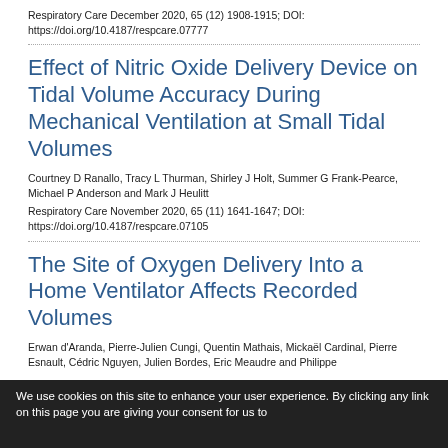Respiratory Care December 2020, 65 (12) 1908-1915; DOI: https://doi.org/10.4187/respcare.07777
Effect of Nitric Oxide Delivery Device on Tidal Volume Accuracy During Mechanical Ventilation at Small Tidal Volumes
Courtney D Ranallo, Tracy L Thurman, Shirley J Holt, Summer G Frank-Pearce, Michael P Anderson and Mark J Heulitt
Respiratory Care November 2020, 65 (11) 1641-1647; DOI: https://doi.org/10.4187/respcare.07105
The Site of Oxygen Delivery Into a Home Ventilator Affects Recorded Volumes
Erwan d'Aranda, Pierre-Julien Cungi, Quentin Mathais, Mickaël Cardinal, Pierre Esnault, Cédric Nguyen, Julien Bordes, Eric Meaudre and Philippe
We use cookies on this site to enhance your user experience. By clicking any link on this page you are giving your consent for us to